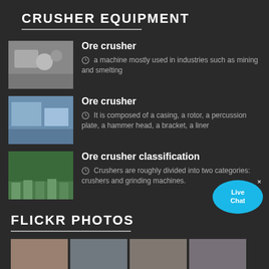CRUSHER EQUIPMENT
Ore crusher — a machine mostly used in industries such as mining and smelting
Ore crusher — It is composed of a casing, a rotor, a percussion plate, a hammer head, a bracket, a liner
Ore crusher classification — Crushers are roughly divided into two categories: crushers and grinding machines.
FLICKR PHOTOS
[Figure (photo): Four portrait photos displayed in a row under Flickr Photos section]